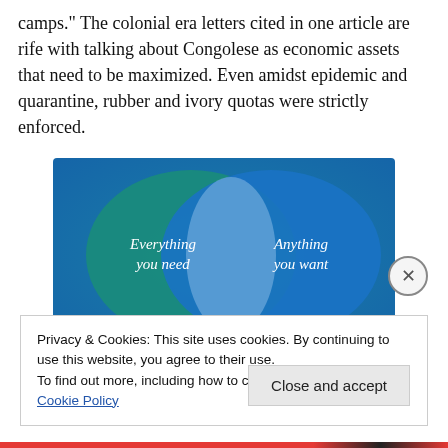camps." The colonial era letters cited in one article are rife with talking about Congolese as economic assets that need to be maximized. Even amidst epidemic and quarantine, rubber and ivory quotas were strictly enforced.
[Figure (illustration): Venn diagram with two overlapping circles on a teal-to-blue gradient background. Left circle label: 'Everything you need'. Right circle label: 'Anything you want'.]
Privacy & Cookies: This site uses cookies. By continuing to use this website, you agree to their use.
To find out more, including how to control cookies, see here: Cookie Policy
Close and accept